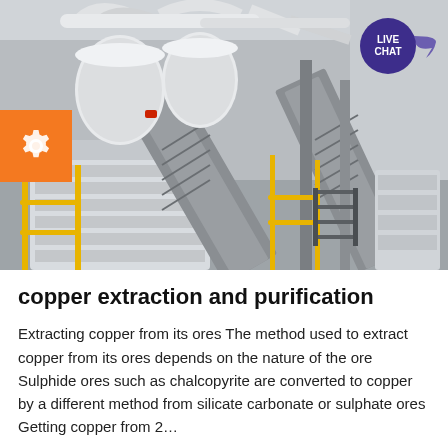[Figure (photo): Industrial mining/processing facility interior showing conveyor belts, large white industrial machines, pipes, and yellow railings in a warehouse-like building.]
copper extraction and purification
Extracting copper from its ores The method used to extract copper from its ores depends on the nature of the ore Sulphide ores such as chalcopyrite are converted to copper by a different method from silicate carbonate or sulphate ores Getting copper from 2…